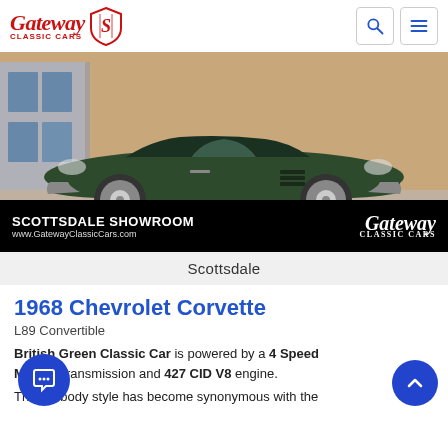[Figure (logo): Gateway Classic Cars logo with red script text and shield emblem, plus search and menu icons in header]
[Figure (photo): 1968 Chevrolet Corvette L89 Convertible in British Green parked at Scottsdale Showroom, with Gateway Classic Cars overlay branding and www.GatewayClassicCars.com URL]
Scottsdale
1968 Chevrolet Corvette
L89 Convertible
British Green Classic Car is powered by a 4 Speed Manual transmission and 427 CID V8 engine.
The C3 body style has become synonymous with the